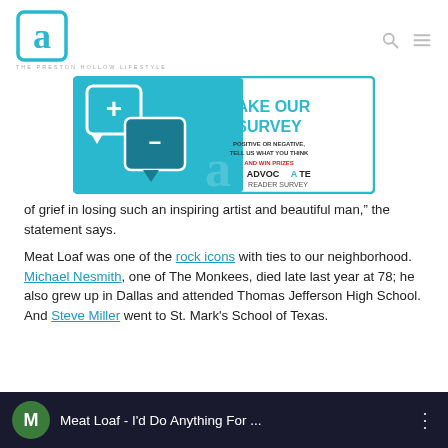THE PRESTON HOLLOW LIFESTYLE
[Figure (infographic): Take Our Survey banner ad — Advocate Reader Survey with [+] and [-] speech bubble icons in teal, text: TAKE OUR SURVEY / POSITIVE OR NEGATIVE, TELL US WHAT YOU THINK / AND WIN PRIZES / ADVOCATE READER SURVEY]
of grief in losing such an inspiring artist and beautiful man," the statement says.
Meat Loaf was one of the rock icons with ties to our neighborhood. Michael Nesmith, one of The Monkees, died late last year at 78; he also grew up in Dallas and attended Thomas Jefferson High School. And Steve Miller went to St. Mark's School of Texas.
[Figure (screenshot): Video thumbnail bar: dark background with green circle avatar showing letter M, title text: Meat Loaf - I'd Do Anything For ... with three-dot menu icon]